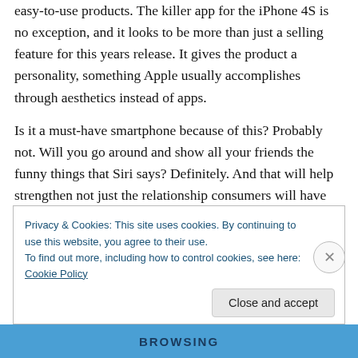easy-to-use products. The killer app for the iPhone 4S is no exception, and it looks to be more than just a selling feature for this years release. It gives the product a personality, something Apple usually accomplishes through aesthetics instead of apps.
Is it a must-have smartphone because of this? Probably not. Will you go around and show all your friends the funny things that Siri says? Definitely. And that will help strengthen not just the relationship consumers will have with the product, but also with Apple.
Privacy & Cookies: This site uses cookies. By continuing to use this website, you agree to their use.
To find out more, including how to control cookies, see here: Cookie Policy
Close and accept